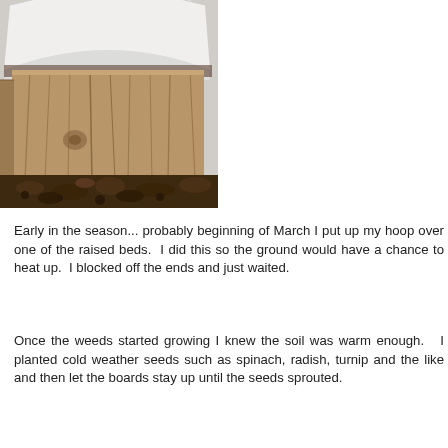[Figure (photo): A raised garden bed with a hoop structure covered in white plastic sheeting. A weathered wooden plywood board acts as an end panel, with dark soil visible inside and around the base of the bed.]
Early in the season... probably beginning of March I put up my hoop over one of the raised beds. I did this so the ground would have a chance to heat up. I blocked off the ends and just waited.
Once the weeds started growing I knew the soil was warm enough. I planted cold weather seeds such as spinach, radish, turnip and the like and then let the boards stay up until the seeds sprouted.